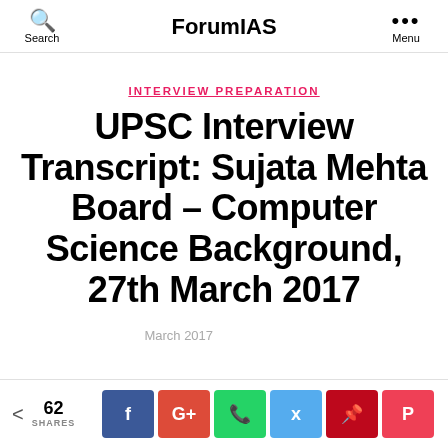ForumIAS
INTERVIEW PREPARATION
UPSC Interview Transcript: Sujata Mehta Board – Computer Science Background, 27th March 2017
62 SHARES
Social sharing buttons: Facebook, Google+, WhatsApp, Twitter, Pinterest, Pocket